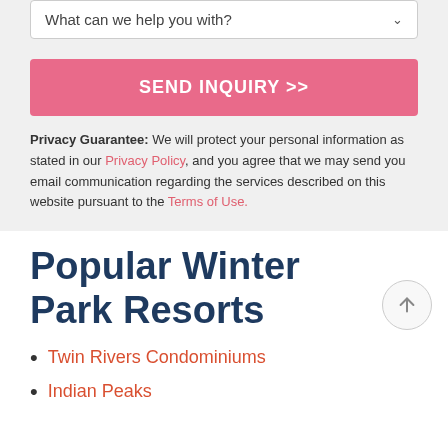[Figure (screenshot): Dropdown selector with label 'What can we help you with?' and a chevron arrow on the right]
[Figure (screenshot): Pink button with white bold text 'SEND INQUIRY >>']
Privacy Guarantee: We will protect your personal information as stated in our Privacy Policy, and you agree that we may send you email communication regarding the services described on this website pursuant to the Terms of Use.
Popular Winter Park Resorts
Twin Rivers Condominiums
Indian Peaks